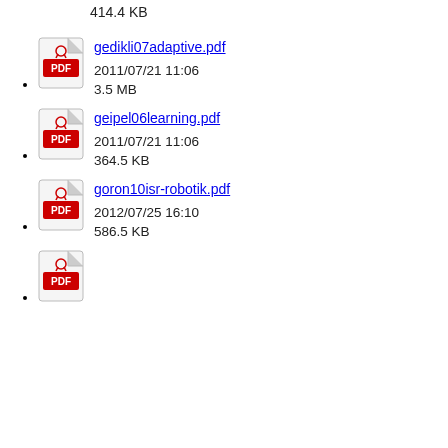2011/07/21 11:06
414.4 KB
gedikli07adaptive.pdf
2011/07/21 11:06
3.5 MB
geipel06learning.pdf
2011/07/21 11:06
364.5 KB
goron10isr-robotik.pdf
2012/07/25 16:10
586.5 KB
(next item, icon visible)